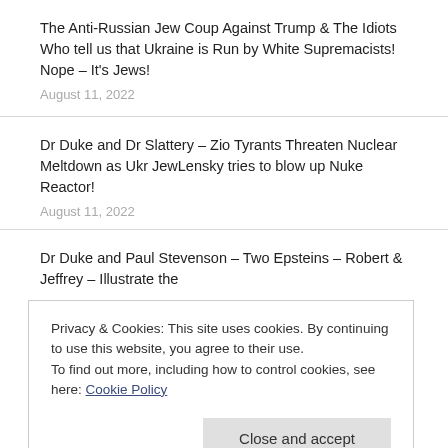The Anti-Russian Jew Coup Against Trump & The Idiots Who tell us that Ukraine is Run by White Supremacists! Nope – It's Jews!
August 11, 2022
Dr Duke and Dr Slattery – Zio Tyrants Threaten Nuclear Meltdown as Ukr JewLensky tries to blow up Nuke Reactor!
August 11, 2022
Dr Duke and Paul Stevenson – Two Epsteins – Robert & Jeffrey – Illustrate the
Privacy & Cookies: This site uses cookies. By continuing to use this website, you agree to their use.
To find out more, including how to control cookies, see here: Cookie Policy
Close and accept